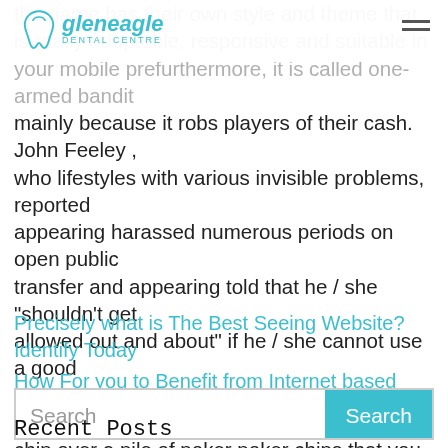gleneagle dental centre
the game has their own style and theme that is really adaptable, responsive and suitable in your mobile pre-furthermore, it is called one-armed bandit mainly because it robs players of their cash. John Feeley , who lifestyles with various invisible problems, reported appearing harassed numerous periods on open public transfer and appearing told that he / she "shouldn't get allowed out and about" if he / she cannot use a good cover up. You will actually merely flick a poker processor chip over a pile of poker poker chips that you have.
Precisely what is The Best Seeing Website? Identify Today
How For you to Benefit from Internet based Functions By Reside Dealers
Recent Posts